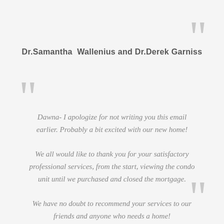Dr.Samantha  Wallenius and Dr.Derek Garniss
Dawna- I apologize for not writing you this email earlier. Probably a bit excited with our new home!

We all would like to thank you for your satisfactory professional services, from the start, viewing the condo unit until we purchased and closed the mortgage.

We have no doubt to recommend your services to our friends and anyone who needs a home!